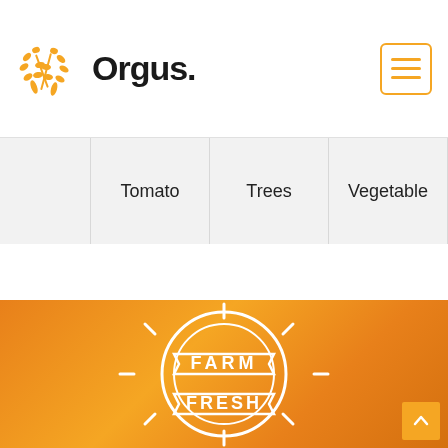[Figure (logo): Orgus. brand logo with orange wheat/grain icon and bold black text]
Tomato
Trees
Vegetable
[Figure (illustration): Farm Fresh badge/stamp logo on orange background with sun-like decorative elements and ribbon banner style]